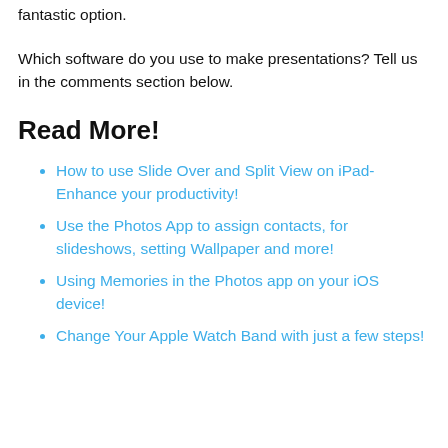fantastic option.
Which software do you use to make presentations? Tell us in the comments section below.
Read More!
How to use Slide Over and Split View on iPad- Enhance your productivity!
Use the Photos App to assign contacts, for slideshows, setting Wallpaper and more!
Using Memories in the Photos app on your iOS device!
Change Your Apple Watch Band with just a few steps!